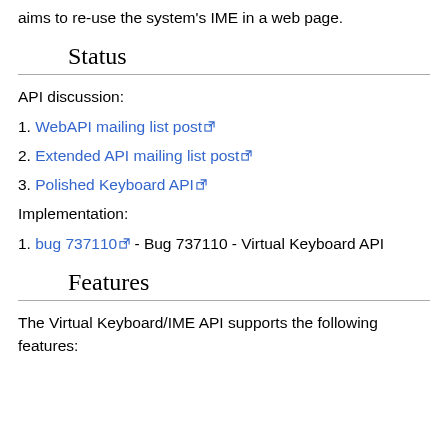aims to re-use the system's IME in a web page.
Status
API discussion:
1. WebAPI mailing list post
2. Extended API mailing list post
3. Polished Keyboard API
Implementation:
1. bug 737110 - Bug 737110 - Virtual Keyboard API
Features
The Virtual Keyboard/IME API supports the following features: